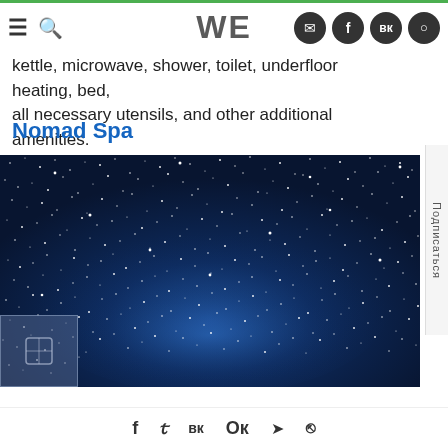WE
kettle, microwave, shower, toilet, underfloor heating, bed, all necessary utensils, and other additional amenities.
Nomad Spa
[Figure (photo): Night sky with stars and Milky Way visible, dark blue tones]
f  y  vk  ok  telegram  flipboard